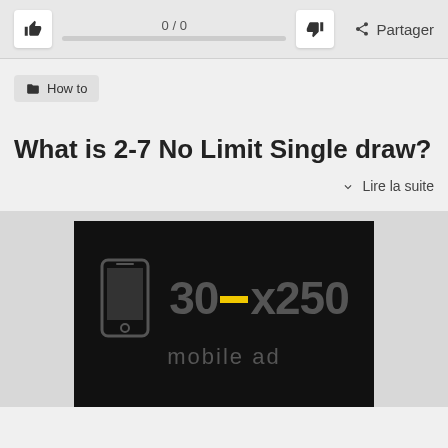[Figure (screenshot): Top bar with thumbs up button, vote score 0/0 with progress bar, thumbs down button, and Partager share button]
How to
What is 2-7 No Limit Single draw?
Lire la suite
[Figure (infographic): 300x250 mobile ad placeholder with phone icon on black background]